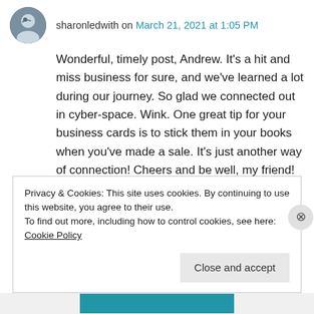sharonledwith on March 21, 2021 at 1:05 PM
Wonderful, timely post, Andrew. It’s a hit and miss business for sure, and we’ve learned a lot during our journey. So glad we connected out in cyber-space. Wink. One great tip for your business cards is to stick them in your books when you’ve made a sale. It’s just another way of connection! Cheers and be well, my friend!
★ Liked by 2 people
Privacy & Cookies: This site uses cookies. By continuing to use this website, you agree to their use. To find out more, including how to control cookies, see here: Cookie Policy
Close and accept